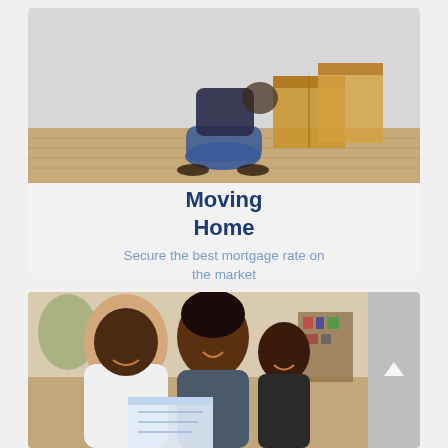[Figure (photo): Person kneeling on wooden floor with head inside a cardboard moving box, other boxes nearby, light grey wall background]
Moving Home
Secure the best mortgage rate on the market
[Figure (photo): Happy African-American family — father, mother, and young son — sitting on a sofa reading together, smiling, living room background]